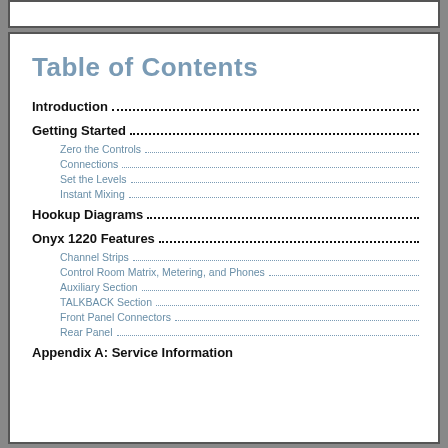Table of Contents
Introduction
Getting Started
Zero the Controls
Connections
Set the Levels
Instant Mixing
Hookup Diagrams
Onyx 1220 Features
Channel Strips
Control Room Matrix, Metering, and Phones
Auxiliary Section
TALKBACK Section
Front Panel Connectors
Rear Panel
Appendix A: Service Information